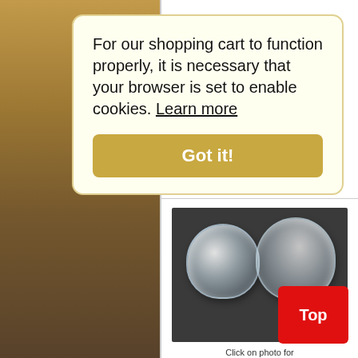For our shopping cart to function properly, it is necessary that your browser is set to enable cookies. Learn more
Got it!
[Figure (photo): Two transparent/clear plastic lens containers (contact lens cases) on a dark background]
Click on photo for larger view
Top